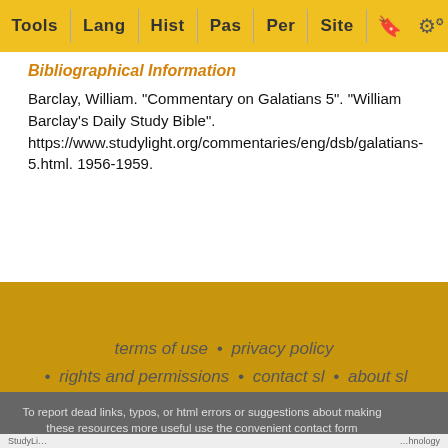Tools | Lang | Hist | Pas | Per | Site
Bibliographical Information
Barclay, William. "Commentary on Galatians 5". "William Barclay's Daily Study Bible". https://www.studylight.org/commentaries/eng/dsb/galatians-5.html. 1956-1959.
terms of use • privacy policy • rights and permissions • contact sl • about sl • link to sl
To report dead links, typos, or html errors or suggestions about making these resources more useful use the convenient contact form
StudyLight ... hnology